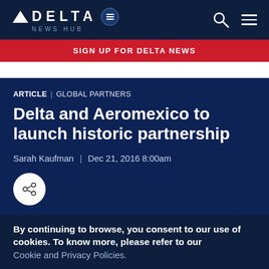DELTA NEWS HUB
SIGN UP FOR DELTA NEWS
ARTICLE | GLOBAL PARTNERS
Delta and Aeromexico to launch historic partnership
Sarah Kaufman | Dec 21, 2016 8:00am
By continuing to browse, you consent to our use of cookies. To know more, please refer to our Cookie and Privacy Policies.